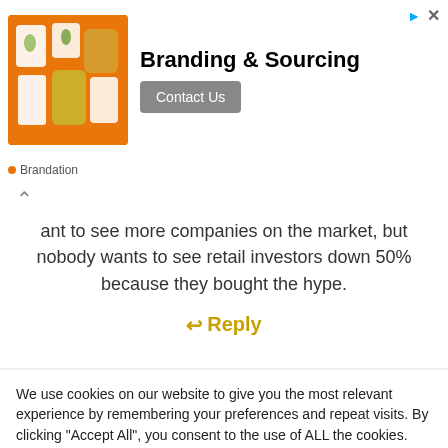[Figure (infographic): Advertisement banner for Brandation showing products on orange background with title Branding & Sourcing and Contact Us button]
ant to see more companies on the market, but nobody wants to see retail investors down 50% because they bought the hype.
Reply
We use cookies on our website to give you the most relevant experience by remembering your preferences and repeat visits. By clicking “Accept All”, you consent to the use of ALL the cookies. However, you may visit "Cookie Settings" to provide a controlled consent.
Cookie Settings
Accept All
Cookie